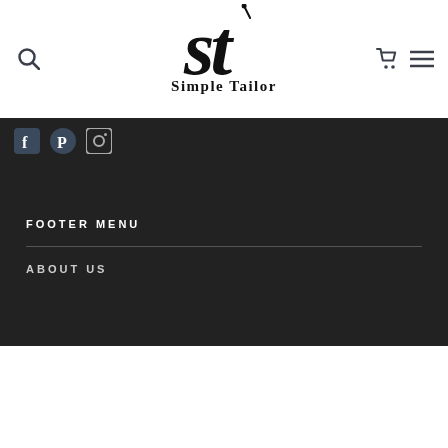Simple Tailor
[Figure (logo): Simple Tailor logo with stylized ST lettermark and needle, with brand name below]
[Figure (infographic): Social media icons bar: Facebook, Pinterest, Instagram on dark background]
FOOTER MENU
ABOUT US